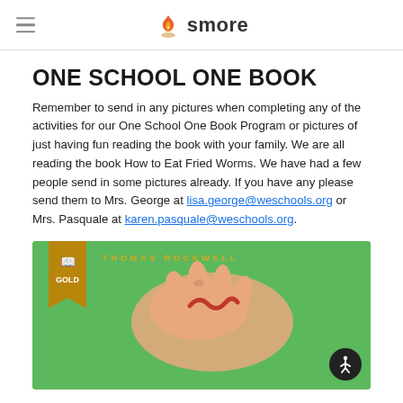smore
ONE SCHOOL ONE BOOK
Remember to send in any pictures when completing any of the activities for our One School One Book Program or pictures of just having fun reading the book with your family. We are all reading the book How to Eat Fried Worms. We have had a few people send in some pictures already. If you have any please send them to Mrs. George at lisa.george@weschools.org or Mrs. Pasquale at karen.pasquale@weschools.org.
[Figure (photo): Book cover of 'How to Eat Fried Worms' by Thomas Rockwell. Green background with a hand holding a worm. Gold award badge in upper left corner. Text 'THOMAS ROCKWELL' in yellow letters at top.]